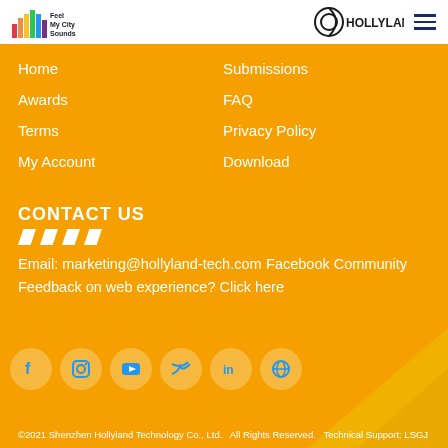Feel My City Sounds | HOLLYLAND
Home
Submissions
Awards
FAQ
Terms
Privacy Policy
My Account
Download
CONTACT US
Email: marketing@hollyland-tech.com
Facebook Community
Feedback on web experience? Click here
[Figure (illustration): Row of 6 social media icon circles: Facebook, Instagram, YouTube, Twitter, LinkedIn, Globe/Website]
©2021 Shenzhen Hollyland Technology Co., Ltd.   All Rights Reserved.   Technical Support: LSGJ